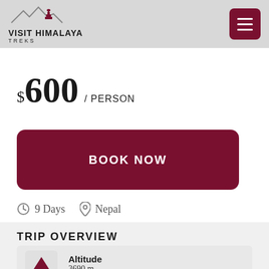VISIT HIMALAYA TREKS
$600 / PERSON
BOOK NOW
9 Days   Nepal
TRIP OVERVIEW
Altitude
3690 m
Region